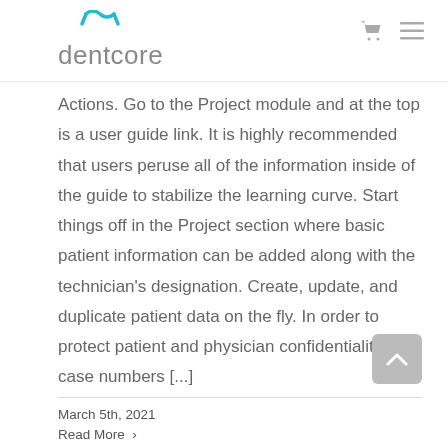dentcore
Actions. Go to the Project module and at the top is a user guide link. It is highly recommended that users peruse all of the information inside of the guide to stabilize the learning curve. Start things off in the Project section where basic patient information can be added along with the technician's designation. Create, update, and duplicate patient data on the fly. In order to protect patient and physician confidentiality, case numbers [...]
March 5th, 2021
Read More